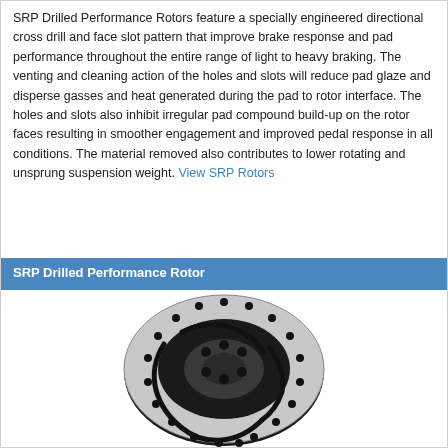SRP Drilled Performance Rotors feature a specially engineered directional cross drill and face slot pattern that improve brake response and pad performance throughout the entire range of light to heavy braking. The venting and cleaning action of the holes and slots will reduce pad glaze and disperse gasses and heat generated during the pad to rotor interface. The holes and slots also inhibit irregular pad compound build-up on the rotor faces resulting in smoother engagement and improved pedal response in all conditions. The material removed also contributes to lower rotating and unsprung suspension weight. View SRP Rotors
SRP Drilled Performance Rotor
[Figure (photo): Photo of an SRP Drilled Performance Rotor — a circular brake rotor with drilled holes and face slots visible, shown from front at slight angle. The rotor appears dark/black with a silver outer face and distinctive drilled hole and slot pattern.]